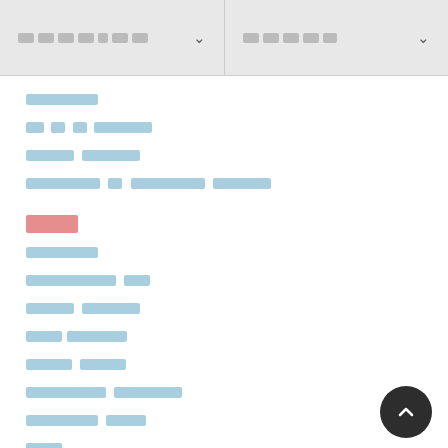[dropdown column 1] [dropdown column 2]
[redacted link 1]
[redacted link 2]
[redacted link 3]
[redacted link 4]
[redacted section label]
[redacted link 5]
[redacted link 6]
[redacted link 7]
[redacted link 8]
[redacted link 9]
[redacted link 10]
[redacted link 11]
[redacted link 12]
[redacted link 13]